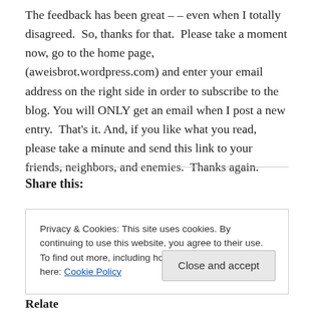The feedback has been great – – even when I totally disagreed.  So, thanks for that.  Please take a moment now, go to the home page, (aweisbrot.wordpress.com) and enter your email address on the right side in order to subscribe to the blog. You will ONLY get an email when I post a new entry.  That's it. And, if you like what you read, please take a minute and send this link to your friends, neighbors, and enemies.  Thanks again.
Share this:
Privacy & Cookies: This site uses cookies. By continuing to use this website, you agree to their use.
To find out more, including how to control cookies, see here: Cookie Policy
Close and accept
Related